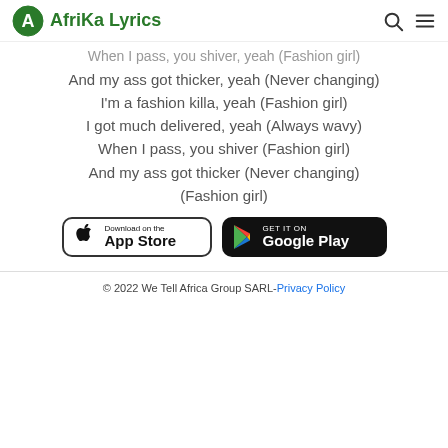Afrika Lyrics
When I pass, you shiver, yeah (Fashion girl)
And my ass got thicker, yeah (Never changing)
I'm a fashion killa, yeah (Fashion girl)
I got much delivered, yeah (Always wavy)
When I pass, you shiver (Fashion girl)
And my ass got thicker (Never changing)
(Fashion girl)
[Figure (other): App Store and Google Play download buttons]
© 2022 We Tell Africa Group SARL-Privacy Policy